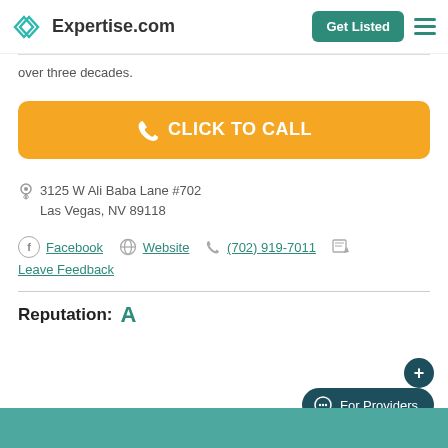Expertise.com | Get Listed
over three decades.
CLICK TO CALL
3125 W Ali Baba Lane #702
Las Vegas, NV 89118
Facebook | Website | (702) 919-7011
Leave Feedback
Reputation: A
For Providers